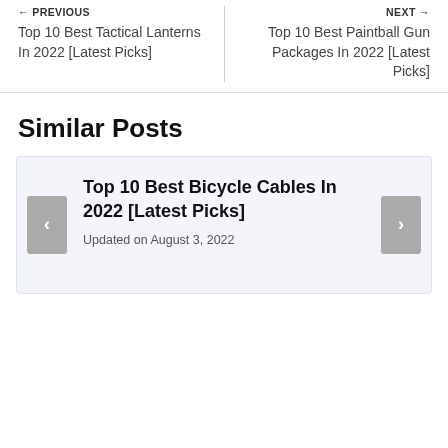← PREVIOUS
Top 10 Best Tactical Lanterns In 2022 [Latest Picks]
NEXT →
Top 10 Best Paintball Gun Packages In 2022 [Latest Picks]
Similar Posts
Top 10 Best Bicycle Cables In 2022 [Latest Picks]
Updated on August 3, 2022